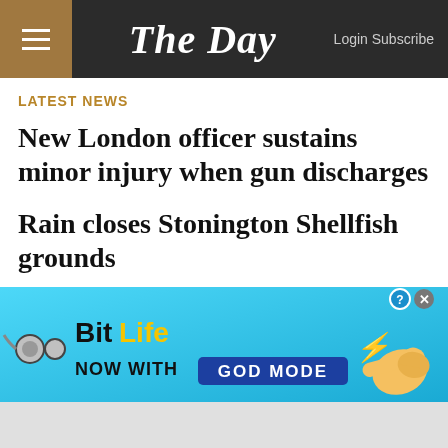The Day — Login Subscribe
LATEST NEWS
New London officer sustains minor injury when gun discharges
Rain closes Stonington Shellfish grounds
Ledyard police charge convicted sex offender on probation with home invasion
Agencies in region to receive $206,739 in
[Figure (screenshot): BitLife advertisement banner: 'NOW WITH GOD MODE' on a blue background with cartoon hands and lightning bolt graphics]